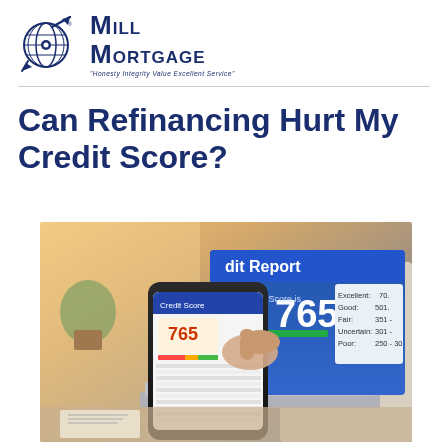[Figure (logo): Mill Mortgage company logo with globe/target icon and text 'Mill Mortgage' with tagline 'Honesty Integrity Value Excellent Service']
Can Refinancing Hurt My Credit Score?
[Figure (photo): Person holding a smartphone showing a credit score of 765, with a laptop screen in the background displaying a Credit Report with score ranges: Excellent 70+, Good 501+, Fair 351+, Uncertain 301+, Poor 250-30+]